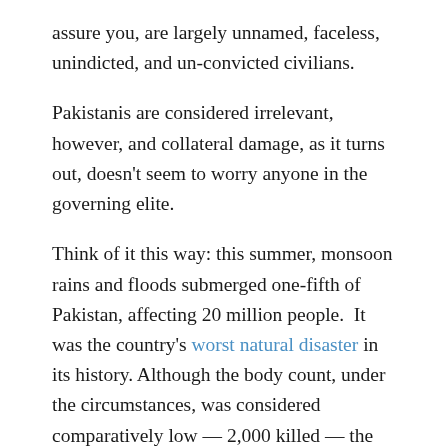assure you, are largely unnamed, faceless, unindicted, and un-convicted civilians.
Pakistanis are considered irrelevant, however, and collateral damage, as it turns out, doesn't seem to worry anyone in the governing elite.
Think of it this way: this summer, monsoon rains and floods submerged one-fifth of Pakistan, affecting 20 million people.  It was the country's worst natural disaster in its history. Although the body count, under the circumstances, was considered comparatively low — 2,000 killed — the United Nations concluded that the destruction caused by the floods surpassed the devastating Asian tsunami of 2004, the Pakistan earthquake of 2005, and the recent earthquake in Haiti combined. Two million homes were destroyed and the crucial